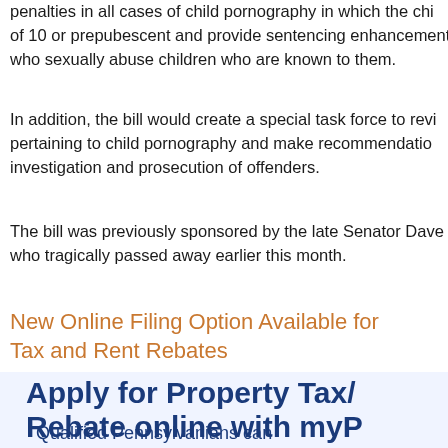penalties in all cases of child pornography in which the child is under the age of 10 or prepubescent and provide sentencing enhancements for offenders who sexually abuse children who are known to them.
In addition, the bill would create a special task force to review federal laws pertaining to child pornography and make recommendations to improve the investigation and prosecution of offenders.
The bill was previously sponsored by the late Senator Dave A. who tragically passed away earlier this month.
New Online Filing Option Available for Tax and Rent Rebates
[Figure (infographic): Dark navy blue promotional graphic with bold white/navy text: 'Apply for Property Tax/Rebate online with myP' and subtitle 'Qualified Pennsylvanians can']